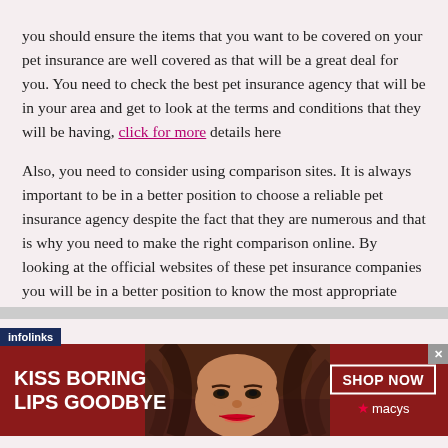you should ensure the items that you want to be covered on your pet insurance are well covered as that will be a great deal for you. You need to check the best pet insurance agency that will be in your area and get to look at the terms and conditions that they will be having, click for more details here
Also, you need to consider using comparison sites. It is always important to be in a better position to choose a reliable pet insurance agency despite the fact that they are numerous and that is why you need to make the right comparison online. By looking at the official websites of these pet insurance companies you will be in a better position to know the most appropriate
[Figure (screenshot): Advertisement banner for Macy's lipstick campaign: dark red background with text 'KISS BORING LIPS GOODBYE' on the left, a woman's face with red lips in the center, and 'SHOP NOW' button with Macy's star logo on the right. An 'infolinks' label appears above the banner.]